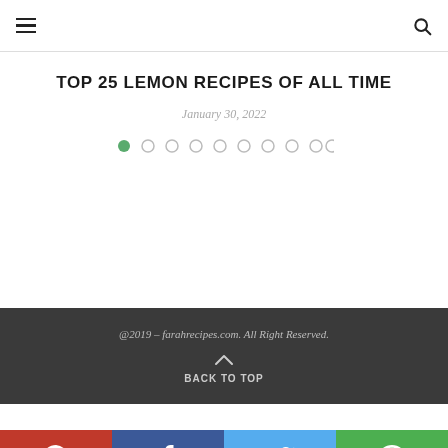≡  🔍
TOP 25 LEMON RECIPES OF ALL TIME
January 30, 2022
[Figure (other): Pagination dots: 10 circles, first one filled green, rest are empty outlines]
@2019 – farahrecipes.com. All Right Reserved.
BACK TO TOP
[Figure (other): Social sharing bar with Pinterest (red), Facebook (blue), Twitter (light blue), WhatsApp (green) buttons]